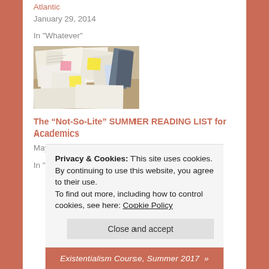Atlantic
January 29, 2014
In "Whatever"
[Figure (photo): Messy desk covered with papers, books, sticky notes and various documents]
The “Not-So-Lite” SUMMER READING LIST for Academics
May 28, 2013
In "chronicle of higher education"
Privacy & Cookies: This site uses cookies. By continuing to use this website, you agree to their use.
To find out more, including how to control cookies, see here: Cookie Policy
Close and accept
Existentialism Course, Summer 2017 »